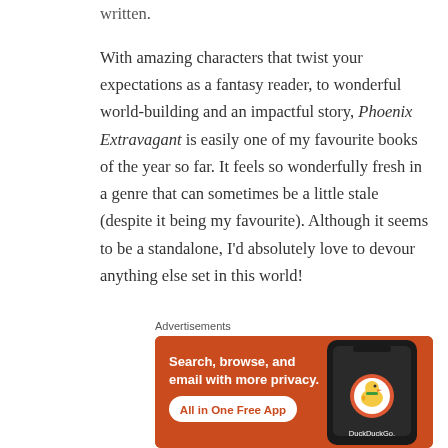written.
With amazing characters that twist your expectations as a fantasy reader, to wonderful world-building and an impactful story, Phoenix Extravagant is easily one of my favourite books of the year so far. It feels so wonderfully fresh in a genre that can sometimes be a little stale (despite it being my favourite). Although it seems to be a standalone, I'd absolutely love to devour anything else set in this world!
Advertisements
[Figure (other): DuckDuckGo advertisement banner with orange background. Text reads 'Search, browse, and email with more privacy. All in One Free App'. A phone with the DuckDuckGo logo is shown on the right.]